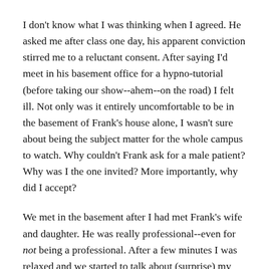I don't know what I was thinking when I agreed. He asked me after class one day, his apparent conviction stirred me to a reluctant consent. After saying I'd meet in his basement office for a hypno-tutorial (before taking our show--ahem--on the road) I felt ill. Not only was it entirely uncomfortable to be in the basement of Frank's house alone, I wasn't sure about being the subject matter for the whole campus to watch. Why couldn't Frank ask for a male patient? Why was I the one invited? More importantly, why did I accept?
We met in the basement after I had met Frank's wife and daughter. He was really professional--even for not being a professional. After a few minutes I was relaxed and we started to talk about (surprise) my childhood as Frank spoke in a low voice.
It wasn't so bad being hypnotized. I think I may have even worked out a thing or two in my psyche. When I